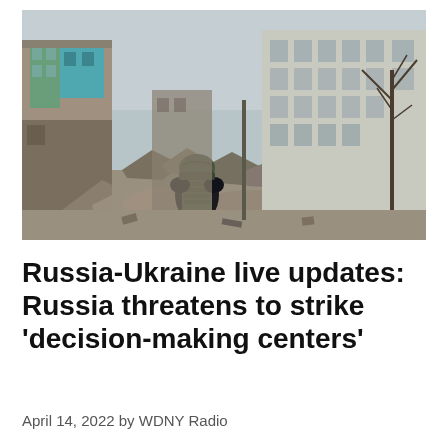[Figure (photo): A soldier in military gear and helmet with a backpack stands with their back to the camera, facing destroyed multi-story apartment buildings with rubble and debris scattered across the ground.]
Russia-Ukraine live updates: Russia threatens to strike ‘decision-making centers’
April 14, 2022 by WDNY Radio